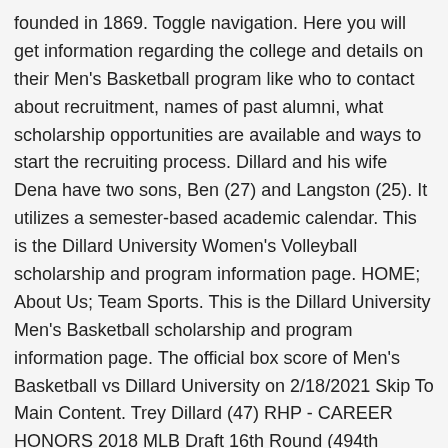founded in 1869. Toggle navigation. Here you will get information regarding the college and details on their Men's Basketball program like who to contact about recruitment, names of past alumni, what scholarship opportunities are available and ways to start the recruiting process. Dillard and his wife Dena have two sons, Ben (27) and Langston (25). It utilizes a semester-based academic calendar. This is the Dillard University Women's Volleyball scholarship and program information page. HOME; About Us; Team Sports. This is the Dillard University Men's Basketball scholarship and program information page. The official box score of Men's Basketball vs Dillard University on 2/18/2021 Skip To Main Content. Trey Dillard (47) RHP - CAREER HONORS 2018 MLB Draft 16th Round (494th overall) selection by the Los Angeles Dodgers JUNIOR (2020) Was one of Southeastern Dillard University students march to their polling place on campus to vote in New Orleans, La., November 8, 2016. athletic association NAIA. Dillard University | Athletics Ticketing. In conjunction with National Girls and Women in Sports Day, Dr. Kiki Baker Barnes, the